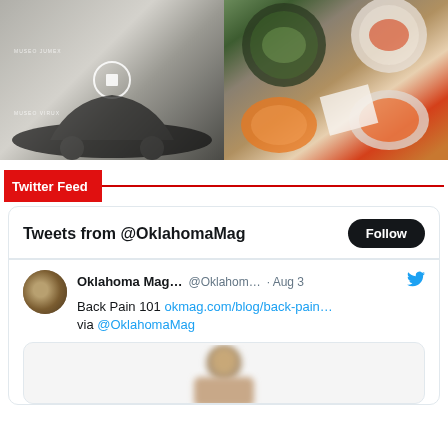[Figure (photo): Two side-by-side photos: left shows a museum building with a large black car sculpture, right shows an overhead view of food dishes]
Twitter Feed
[Figure (screenshot): Twitter widget showing tweets from @OklahomaMag. Tweet by Oklahoma Mag... @Oklahom... Aug 3: Back Pain 101 okmag.com/blog/back-pain... via @OklahomaMag, with a blurred image of a person's head below.]